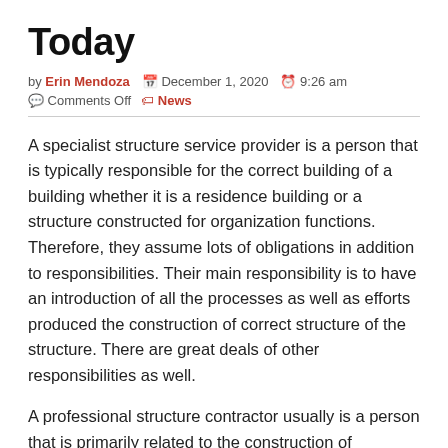Today
by Erin Mendoza   December 1, 2020   9:26 am   Comments Off   News
A specialist structure service provider is a person that is typically responsible for the correct building of a building whether it is a residence building or a structure constructed for organization functions. Therefore, they assume lots of obligations in addition to responsibilities. Their main responsibility is to have an introduction of all the processes as well as efforts produced the construction of correct structure of the structure. There are great deals of other responsibilities as well.
A professional structure contractor usually is a person that is primarily related to the construction of